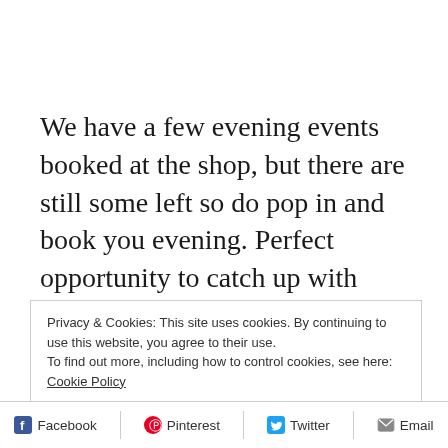We have a few evening events booked at the shop, but there are still some left so do pop in and book you evening. Perfect opportunity to catch up with your friends, a glass of wine, lovely Bia Bistrot nibbles and best of all get your Christmas shopping done.
Privacy & Cookies: This site uses cookies. By continuing to use this website, you agree to their use.
To find out more, including how to control cookies, see here:
Cookie Policy
Close and accept
Facebook  Pinterest  Twitter  Email